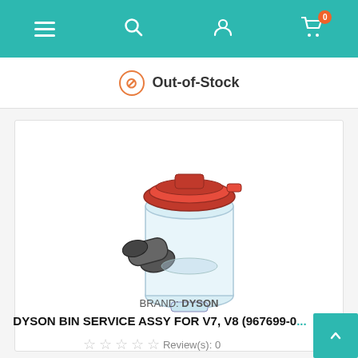Navigation bar with hamburger menu, search icon, account icon, and cart icon (0 items)
Out-of-Stock
[Figure (photo): Dyson vacuum bin service assembly for V7, V8 models — transparent cylindrical bin with red top cap and grey inlet attachment]
BRAND: DYSON
DYSON BIN SERVICE ASSY FOR V7, V8 (967699-0...
Review(s): 0